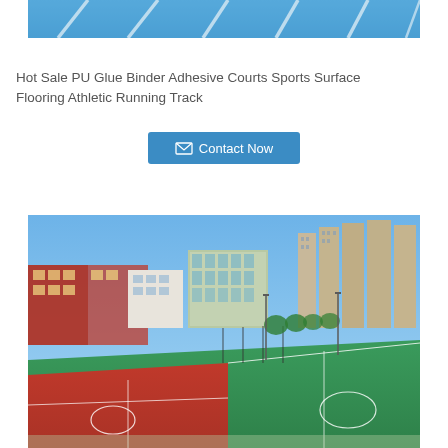[Figure (photo): Close-up aerial view of blue athletic running track with white lane lines]
Hot Sale PU Glue Binder Adhesive Courts Sports Surface Flooring Athletic Running Track
Contact Now
[Figure (photo): Outdoor sports court facility showing red and green basketball/sports courts with school buildings and high-rise residential buildings in the background under a blue sky]